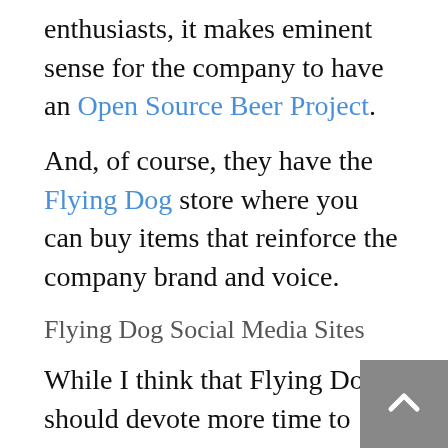enthusiasts, it makes eminent sense for the company to have an Open Source Beer Project.
And, of course, they have the Flying Dog store where you can buy items that reinforce the company brand and voice.
Flying Dog Social Media Sites
While I think that Flying Dog should devote more time to each of their social media accounts as mediums in and of themselves, they do maintain the Flying Dog voice within each channel.
Flying Dog's Facebook Presence
Flying Dog's Facebook presence is a bit more robust, boasting 276 fans of the Flying Dog page and 235 members of a fan-created Flying Dog Facebook Group. The official Facebook page features blog posts fed from an RSS feed, events